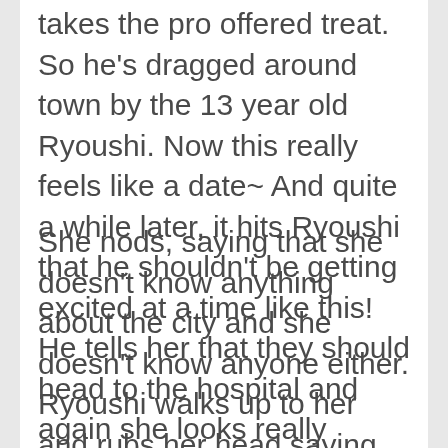takes the pro offered treat. So he's dragged around town by the 13 year old Ryoushi. Now this really feels like a date~ And quite a while later, it hits Ryoushi that he shouldn't be getting excited at a time like this! He tells her that they should head to the hospital and again she looks really down. Quietly Ryoushi asks that she's scared of being alone right?
She nods, saying that she doesn't know anything about the city and she doesn't know anyone either. Ryoushi walks up to her and rubs her head saying that he's here for her so it's okay. No matter what may happen, he'll protect her and he'll always be by her side. She smiles as ah crap it starts to rain. Our